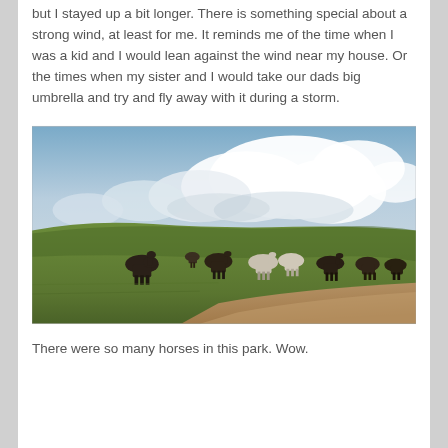but I stayed up a bit longer. There is something special about a strong wind, at least for me. It reminds me of the time when I was a kid and I would lean against the wind near my house. Or the times when my sister and I would take our dads big umbrella and try and fly away with it during a storm.
[Figure (photo): A wide open grassy field under a dramatic cloudy sky. A herd of horses, both dark and light colored, graze along a hillside. A dirt road curves in the foreground.]
There were so many horses in this park. Wow.